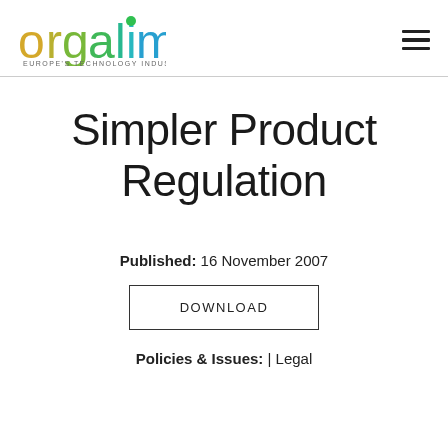[Figure (logo): Orgalim logo with colorful letters and subtitle 'EUROPE'S TECHNOLOGY INDUSTRIES']
Simpler Product Regulation
Published: 16 November 2007
DOWNLOAD
Policies & Issues: | Legal